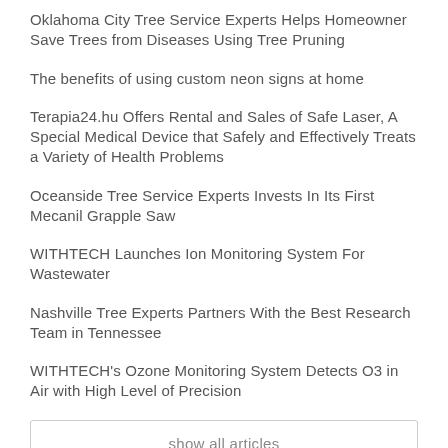Oklahoma City Tree Service Experts Helps Homeowner Save Trees from Diseases Using Tree Pruning
The benefits of using custom neon signs at home
Terapia24.hu Offers Rental and Sales of Safe Laser, A Special Medical Device that Safely and Effectively Treats a Variety of Health Problems
Oceanside Tree Service Experts Invests In Its First Mecanil Grapple Saw
WITHTECH Launches Ion Monitoring System For Wastewater
Nashville Tree Experts Partners With the Best Research Team in Tennessee
WITHTECH's Ozone Monitoring System Detects O3 in Air with High Level of Precision
show all articles
CATEGORIES